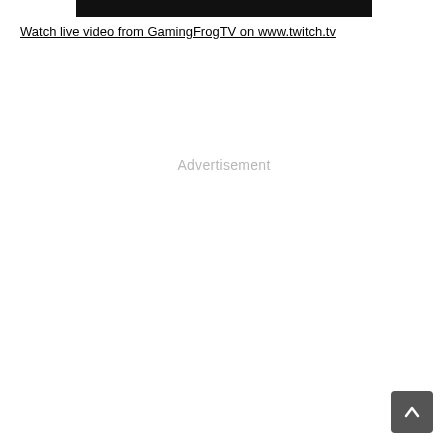[Figure (screenshot): Black video player placeholder banner]
Watch live video from GamingFrogTV on www.twitch.tv
Advertisement
[Figure (other): Scroll-to-top button, dark grey with upward chevron arrow]